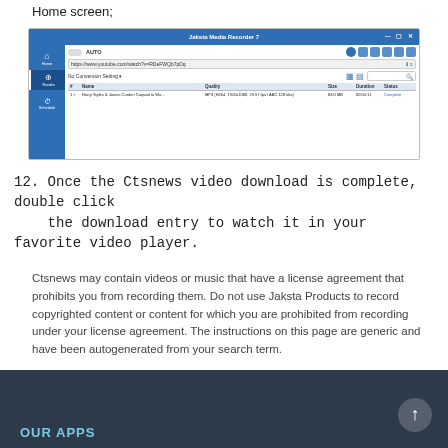Home screen;
[Figure (screenshot): Jaksta Media Recorder 7 application window showing a completed YouTube video download for Harry Styles & James Corden Carpool to Wo... in MP4 format, 1920x1080, 29.97 fps, AAC 128kbs, 83.0 MB, 00:04:11, Complete]
12. Once the Ctsnews video download is complete, double click the download entry to watch it in your favorite video player.
Ctsnews may contain videos or music that have a license agreement that prohibits you from recording them. Do not use Jaksta Products to record copyrighted content or content for which you are prohibited from recording under your license agreement. The instructions on this page are generic and have been autogenerated from your search term.
OUR APPS